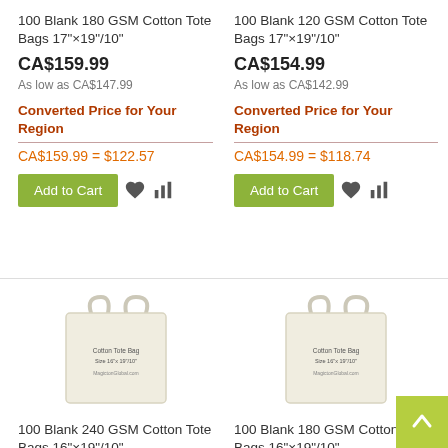100 Blank 180 GSM Cotton Tote Bags 17"×19"/10"
CA$159.99
As low as CA$147.99
Converted Price for Your Region
CA$159.99 = $122.57
Add to Cart
100 Blank 120 GSM Cotton Tote Bags 17"×19"/10"
CA$154.99
As low as CA$142.99
Converted Price for Your Region
CA$154.99 = $118.74
Add to Cart
[Figure (photo): Cotton tote bag product image, size 16x19/10, blank white/cream colored tote bag with handles]
[Figure (photo): Cotton tote bag product image, size 16x19/10, blank white/cream colored tote bag with handles]
100 Blank 240 GSM Cotton Tote Bags 16"×19"/10"
100 Blank 180 GSM Cotton Tote Bags 16"×19"/10"